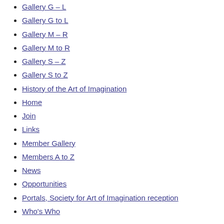Gallery G – L
Gallery G to L
Gallery M – R
Gallery M to R
Gallery S – Z
Gallery S to Z
History of the Art of Imagination
Home
Join
Links
Member Gallery
Members A to Z
News
Opportunities
Portals, Society for Art of Imagination reception
Who's Who
Don Farrell
November 6, 2017 / admin / Comment /
[Figure (photo): Two artwork images side by side: left image shows flowers with a figure, right image shows a skeleton wearing a sombrero with another figure in a forest setting.]